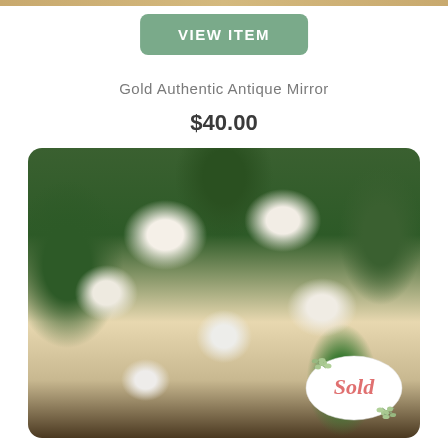VIEW ITEM
Gold Authentic Antique Mirror
$40.00
[Figure (photo): Arrangement of white roses, calla lilies, and hydrangeas with green foliage. A 'Sold' badge with eucalyptus decoration appears in the bottom right corner.]